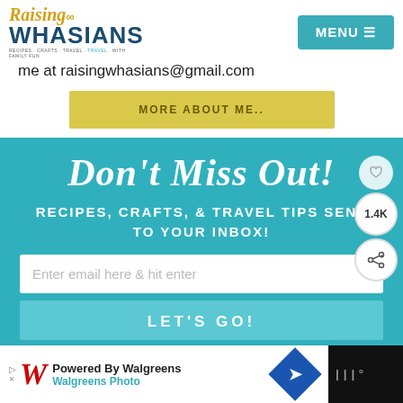Raising Whasians — MENU
me at raisingwhasians@gmail.com
MORE ABOUT ME..
Don't Miss Out!
RECIPES, CRAFTS, & TRAVEL TIPS SENT TO YOUR INBOX!
Enter email here & hit enter
LET'S GO!
1.4K
Powered By Walgreens  Walgreens Photo